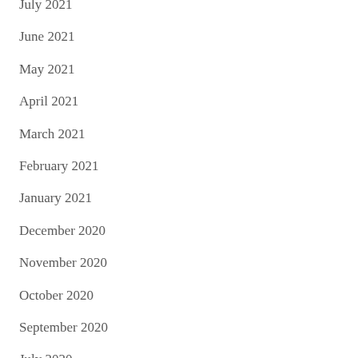July 2021
June 2021
May 2021
April 2021
March 2021
February 2021
January 2021
December 2020
November 2020
October 2020
September 2020
July 2020